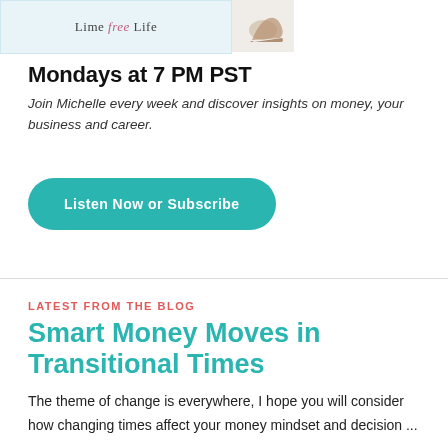[Figure (screenshot): Partial screenshot of a website banner showing 'Lime free Life' logo text and a shoe/heel image on the right]
Mondays at 7 PM PST
Join Michelle every week and discover insights on money, your business and career.
Listen Now or Subscribe
LATEST FROM THE BLOG
Smart Money Moves in Transitional Times
The theme of change is everywhere, I hope you will consider how changing times affect your money mindset and decision ...